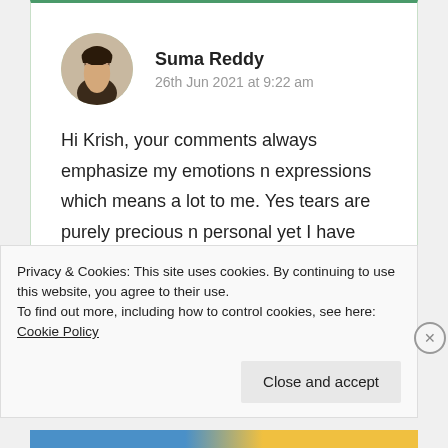Suma Reddy
26th Jun 2021 at 9:22 am
Hi Krish, your comments always emphasize my emotions n expressions which means a lot to me. Yes tears are purely precious n personal yet I have shared my strength along n at peace
Privacy & Cookies: This site uses cookies. By continuing to use this website, you agree to their use. To find out more, including how to control cookies, see here: Cookie Policy
Close and accept